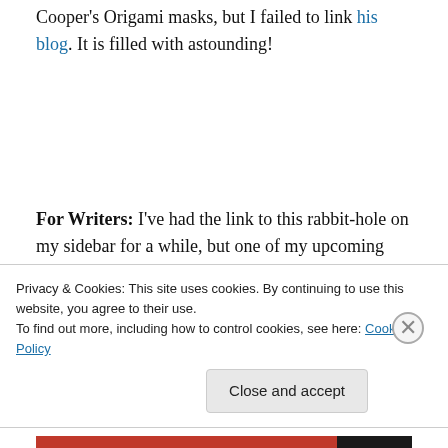Cooper's Origami masks, but I failed to link his blog. It is filled with astounding!
For Writers: I've had the link to this rabbit-hole on my sidebar for a while, but one of my upcoming posts will focus on the subject of tropes and cliches, so it is worth pointing out. This is a very useful post for writers, storytellers, and story-lovers everywhere, but I warn you, it
Privacy & Cookies: This site uses cookies. By continuing to use this website, you agree to their use.
To find out more, including how to control cookies, see here: Cookie Policy